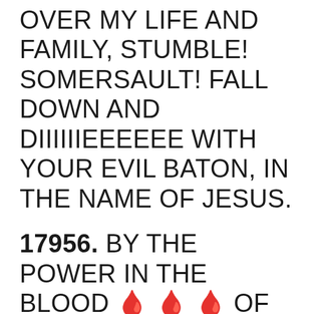OVER MY LIFE AND FAMILY, STUMBLE! SOMERSAULT! FALL DOWN AND DIIIIIIEEEEEE WITH YOUR EVIL BATON, IN THE NAME OF JESUS.
17956. BY THE POWER IN THE BLOOD 🩸🩸🩸 OF JESUS, I REJECT AND NULLIFY THE PATTERN OF FAILURES OF MY FATHER'S HOUSE, I SHALL NOT MAKE THE MISTAKES OF MY ANCESTORS, IN THE NAME OF JESUS.